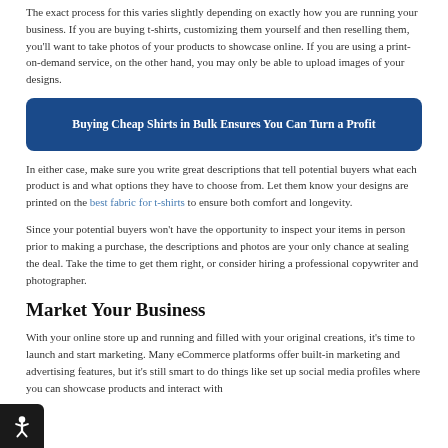The exact process for this varies slightly depending on exactly how you are running your business. If you are buying t-shirts, customizing them yourself and then reselling them, you'll want to take photos of your products to showcase online. If you are using a print-on-demand service, on the other hand, you may only be able to upload images of your designs.
Buying Cheap Shirts in Bulk Ensures You Can Turn a Profit
In either case, make sure you write great descriptions that tell potential buyers what each product is and what options they have to choose from. Let them know your designs are printed on the best fabric for t-shirts to ensure both comfort and longevity.
Since your potential buyers won't have the opportunity to inspect your items in person prior to making a purchase, the descriptions and photos are your only chance at sealing the deal. Take the time to get them right, or consider hiring a professional copywriter and photographer.
Market Your Business
With your online store up and running and filled with your original creations, it's time to launch and start marketing. Many eCommerce platforms offer built-in marketing and advertising features, but it's still smart to do things like set up social media profiles where you can showcase products and interact with